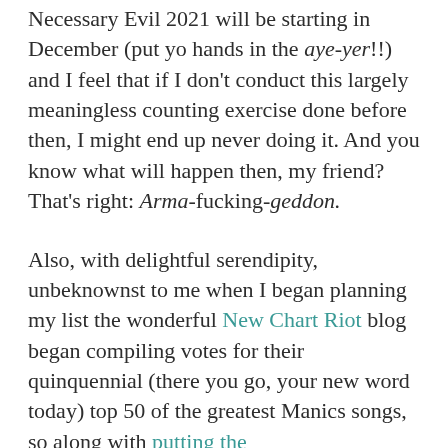Necessary Evil 2021 will be starting in December (put yo hands in the aye-yer!!) and I feel that if I don't conduct this largely meaningless counting exercise done before then, I might end up never doing it. And you know what will happen then, my friend? That's right: Arma-fucking-geddon.
Also, with delightful serendipity, unbeknownst to me when I began planning my list the wonderful New Chart Riot blog began compiling votes for their quinquennial (there you go, your new word today) top 50 of the greatest Manics songs, so along with putting the top half of my list forward for suggestion